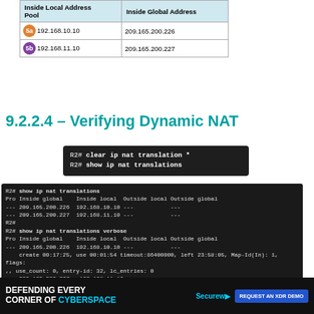| Inside Local Address Pool | Inside Global Address |
| --- | --- |
| 192.168.10.10 | 209.165.200.226 |
| 192.168.11.10 | 209.165.200.227 |
9.2.2.4 – Verifying Dynamic NAT
[Figure (screenshot): Command box showing: R2# clear ip nat translation *  R2# show ip nat translations]
[Figure (screenshot): Terminal output showing show ip nat translations and show ip nat translations verbose with entries for 209.165.200.226 / 192.168.10.10 and 209.165.200.227 / 192.168.11.10]
| Command | Description |
| --- | --- |
| clear ip nat translation * | Clears all dynamic address translation entries from the NAT translation table. |
| clear ip nat translation inside  global-ip | Clear a single dynamic translation entry containing an |
[Figure (infographic): Advertisement: DEFENDING EVERY CORNER OF CYBERSPACE – Securew – REQUEST AN XDR DEMO]